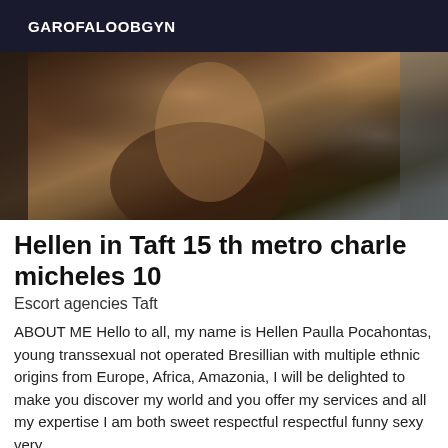GAROFALOOBGYN
[Figure (photo): A blurry indoor photograph showing a person, partially visible, in a dimly lit interior space.]
Hellen in Taft 15 th metro charle micheles 10
Escort agencies Taft
ABOUT ME Hello to all, my name is Hellen Paulla Pocahontas, young transsexual not operated Bresillian with multiple ethnic origins from Europe, Africa, Amazonia, I will be delighted to make you discover my world and you offer my services and all my expertise I am both sweet respectful respectful funny sexy very